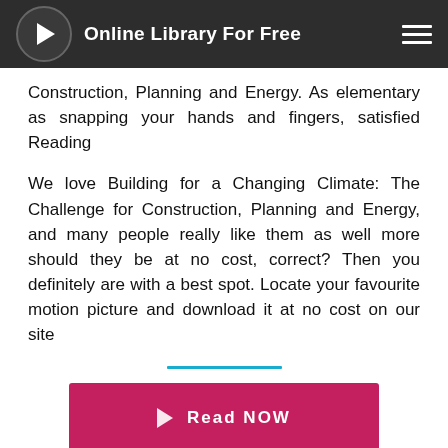Online Library For Free
Construction, Planning and Energy. As elementary as snapping your hands and fingers, satisfied Reading
We love Building for a Changing Climate: The Challenge for Construction, Planning and Energy, and many people really like them as well more should they be at no cost, correct? Then you definitely are with a best spot. Locate your favourite motion picture and download it at no cost on our site
[Figure (other): Horizontal teal/cyan divider line centered on page]
[Figure (other): Pink/red Read NOW button with play triangle icon]
[Figure (other): Outline button (pink border, empty) partially visible at bottom]